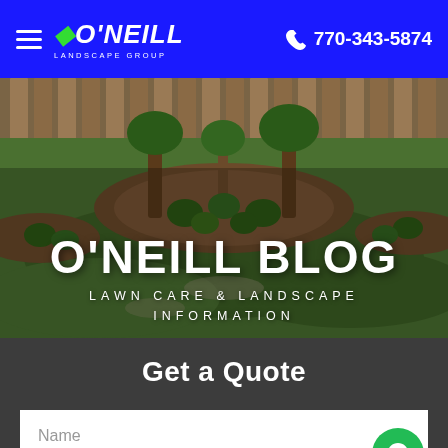O'Neill Landscape Group — 770-343-5874
[Figure (photo): Aerial/overhead view of a landscaped backyard with green lawn, mulched tree beds with shrubs, and a wooden fence in the background. White bold text overlay reads O'NEILL BLOG / LAWN CARE & LANDSCAPE INFORMATION.]
O'NEILL BLOG
LAWN CARE & LANDSCAPE INFORMATION
Get a Quote
Name
Email